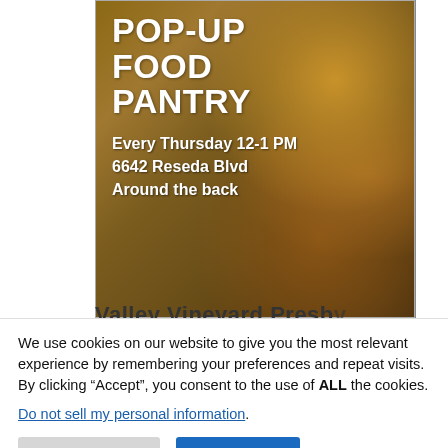[Figure (photo): Pop-Up Food Pantry promotional image showing artisan bread loaves on a wooden surface with white bold text overlay reading 'POP-UP FOOD PANTRY' and details 'Every Thursday 12-1 PM, 6642 Reseda Blvd, Around the back']
We use cookies on our website to give you the most relevant experience by remembering your preferences and repeat visits. By clicking “Accept”, you consent to the use of ALL the cookies.
Do not sell my personal information.